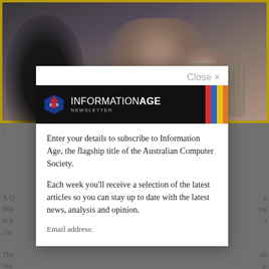[Figure (photo): Background webpage with photo of person with head bowed, and partially visible article text. An email subscription modal overlay is displayed on top.]
[Figure (logo): ACS Information Age Newsletter banner with ACS shield logo, bold white text 'INFORMATION AGE' and 'NEWSLETTER', and colorful vertical bars on the right (red, blue, yellow, orange).]
Enter your details to subscribe to Information Age, the flagship title of the Australian Computer Society.
Each week you'll receive a selection of the latest articles so you can stay up to date with the latest news, analysis and opinion.
Email address: